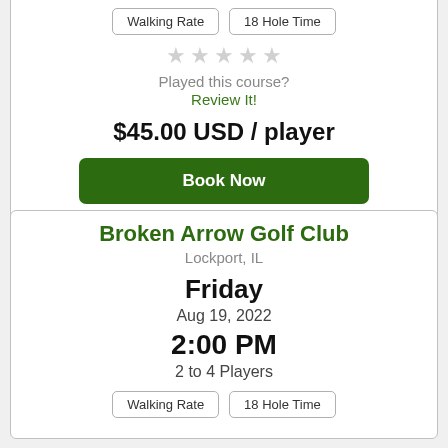Walking Rate | 18 Hole Time
[Figure (other): 5 empty star rating icons]
Played this course?
Review It!
$45.00 USD / player
Book Now
Broken Arrow Golf Club
Lockport, IL
Friday
Aug 19, 2022
2:00 PM
2 to 4 Players
Walking Rate | 18 Hole Time